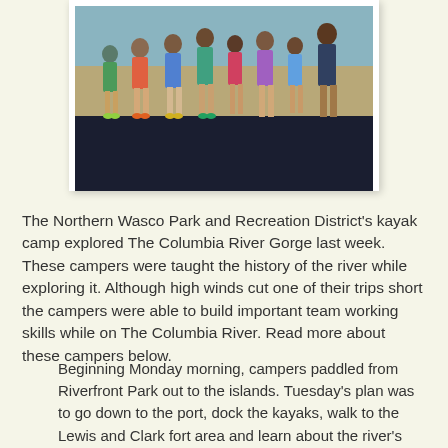[Figure (photo): Group of children/campers standing together at a beach or riverbank, photographed from below waist level showing their legs and feet. The lower portion of the photo has a dark navy/black background strip.]
The Northern Wasco Park and Recreation District's kayak camp explored The Columbia River Gorge last week. These campers were taught the history of the river while exploring it. Although high winds cut one of their trips short the campers were able to build important team working skills while on The Columbia River. Read more about these campers below.
Beginning Monday morning, campers paddled from Riverfront Park out to the islands. Tuesday's plan was to go down to the port, dock the kayaks, walk to the Lewis and Clark fort area and learn about the river's history. However, high winds cut the trip short.